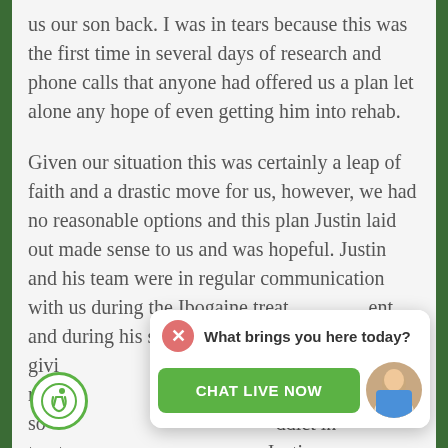us our son back. I was in tears because this was the first time in several days of research and phone calls that anyone had offered us a plan let alone any hope of even getting him into rehab.

Given our situation this was certainly a leap of faith and a drastic move for us, however, we had no reasonable options and this plan Justin laid out made sense to us and was hopeful. Justin and his team were in regular communication with us during the Ibogaine treatment and during his stay at Klarity Life, giving us updates on his progress, and reassuring us that he was safe and sober. The updates from an addict in treatment... from Justin were so very welcome and much appreciated. Fast forward to
[Figure (screenshot): Live chat widget popup with close button (pink X), 'What brings you here today?' text, a green 'CHAT LIVE NOW' button, and a female agent avatar photo]
[Figure (logo): Accessibility icon: circular green border with white background, wheelchair user symbol inside]